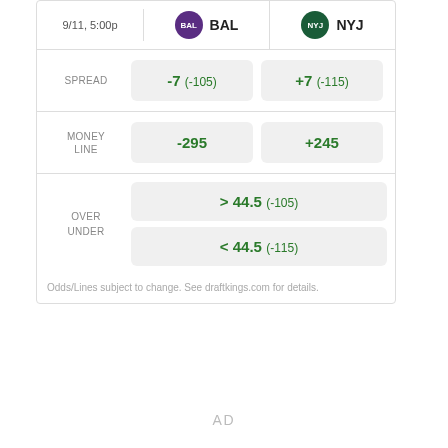|  | BAL | NYJ |
| --- | --- | --- |
| SPREAD | -7 (-105) | +7 (-115) |
| MONEY LINE | -295 | +245 |
| OVER UNDER | > 44.5 (-105) / < 44.5 (-115) |  |
Odds/Lines subject to change. See draftkings.com for details.
AD